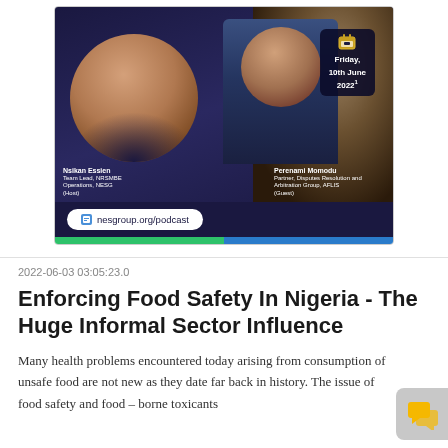[Figure (photo): Podcast promotional card showing two speakers (Nsikan Essien and Perenami Momodu) with a gavel in background, date Friday 10th June 2022, and website nesgroup.org/podcast]
2022-06-03 03:05:23.0
Enforcing Food Safety In Nigeria - The Huge Informal Sector Influence
Many health problems encountered today arising from consumption of unsafe food are not new as they date far back in history. The issue of food safety and food – borne toxicants